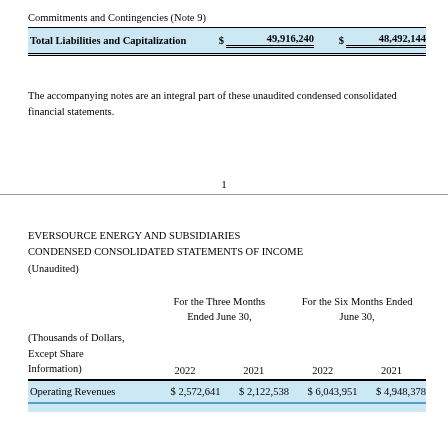Commitments and Contingencies (Note 9)
|  |  |  |
| --- | --- | --- |
| Total Liabilities and Capitalization | $ 49,916,240 | $ 48,492,144 |
The accompanying notes are an integral part of these unaudited condensed consolidated financial statements.
1
EVERSOURCE ENERGY AND SUBSIDIARIES
CONDENSED CONSOLIDATED STATEMENTS OF INCOME
(Unaudited)
| (Thousands of Dollars, Except Share Information) | For the Three Months Ended June 30, 2022 | For the Three Months Ended June 30, 2021 | For the Six Months Ended June 30, 2022 | For the Six Months Ended June 30, 2021 |
| --- | --- | --- | --- | --- |
| Operating Revenues | $ 2,572,641 | $ 2,122,538 | $ 6,043,951 | $ 4,948,378 |